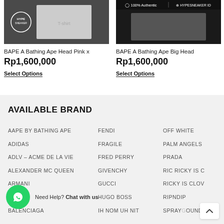[Figure (photo): Product image of BAPE A Bathing Ape Head Pink x item on dark background with Hype Sneaker logo]
BAPE A Bathing Ape Head Pink x
Rp1,600,000
Select Options
[Figure (photo): Product image of BAPE A Bathing Ape Big Head item with 100% Authentic badge and HYPESNEAKER ID branding on black bar]
BAPE A Bathing Ape Big Head
Rp1,600,000
Select Options
AVAILABLE BRAND
AAPE BY BATHING APE
FENDI
OFF WHITE
ADIDAS
FRAGILE
PALM ANGELS
ADLV – ACME DE LA VIE
FRED PERRY
PRADA
ALEXANDER MC QUEEN
GIVENCHY
RIC RICKY IS C
ARMANI
GUCCI
RICKY IS CLOV
ASC
HUGO BOSS
RIPNDIP
BALENCIAGA
IH NOM UH NIT
SPRAYGROUND